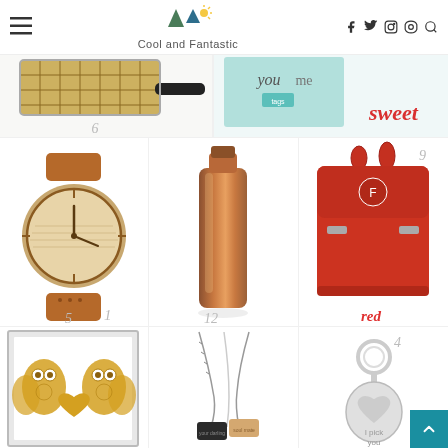Cool and Fantastic — website header with logo and navigation icons
[Figure (photo): Partial view of product grid row: waffle iron (item 6) on left, sweet card/gift (item 7 or 8) on right with 'sweet' text in red script]
[Figure (photo): Wooden watch with brown leather strap (item 1)]
[Figure (photo): Copper insulated bottle (item 12)]
[Figure (photo): Red Fjallraven backpack (item 9) with 'red' label in red script]
[Figure (photo): Gold owl sugar skull art print in gray frame (bottom left)]
[Figure (photo): Couples necklace set with pendants (bottom center)]
[Figure (photo): Silver keychain with heart tag saying 'I pick you' (item 4)]